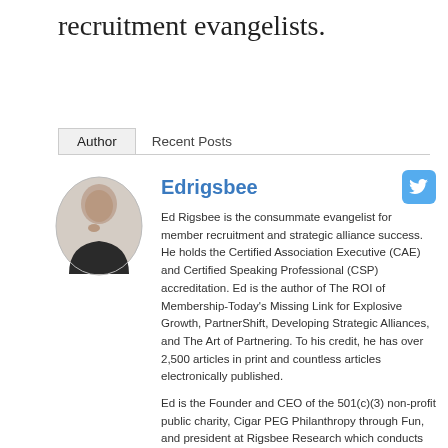recruitment evangelists.
Author   Recent Posts
[Figure (photo): Black and white headshot photo of Ed Rigsbee, a bald older man in a dark top, hand near chin, in an oval/circular crop.]
Edrigsbee
Ed Rigsbee is the consummate evangelist for member recruitment and strategic alliance success. He holds the Certified Association Executive (CAE) and Certified Speaking Professional (CSP) accreditation. Ed is the author of The ROI of Membership-Today’s Missing Link for Explosive Growth, PartnerShift, Developing Strategic Alliances, and The Art of Partnering. To his credit, he has over 2,500 articles in print and countless articles electronically published.
Ed is the Founder and CEO of the 501(c)(3) non-profit public charity, Cigar PEG Philanthropy through Fun, and president at Rigsbee Research which conducts qualitative member ROI research and consulting for associations and societies. He